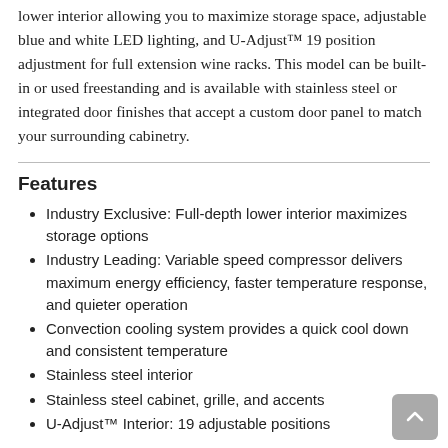lower interior allowing you to maximize storage space, adjustable blue and white LED lighting, and U-Adjust™ 19 position adjustment for full extension wine racks. This model can be built-in or used freestanding and is available with stainless steel or integrated door finishes that accept a custom door panel to match your surrounding cabinetry.
Features
Industry Exclusive: Full-depth lower interior maximizes storage options
Industry Leading: Variable speed compressor delivers maximum energy efficiency, faster temperature response, and quieter operation
Convection cooling system provides a quick cool down and consistent temperature
Stainless steel interior
Stainless steel cabinet, grille, and accents
U-Adjust™ Interior: 19 adjustable positions